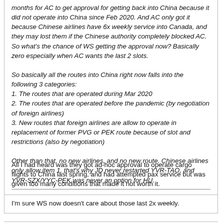months for AC to get approval for getting back into China because it did not operate into China since Feb 2020. And AC only got it because Chinese airlines have 6x weekly service into Canada, and they may lost them if the Chinese authority completely blocked AC. So what's the chance of WS getting the approval now? Basically zero especially when AC wants the last 2 slots.

So basically all the routes into China right now falls into the following 3 categories:
1. The routes that are operated during Mar 2020
2. The routes that are operated before the pandemic (by negotiation of foreign airlines)
3. New routes that foreign airlines are allow to operate in replacement of former PVG or PEK route because of slot and restrictions (also by negotiation)

Other than that, no new airlines, and no new route. Chinese airlines only allow item 1, that's why JD never restarted YVR-TAO, and YVR-SZX/YYC-PEK was never an option for HU.
All I had heard was they got ad-hoc approval to operate cargo flights to China last spring, and had attempted pax service but was given too many conditions that made it not worth it.

I'm sure WS now doesn't care about those last 2x weekly.